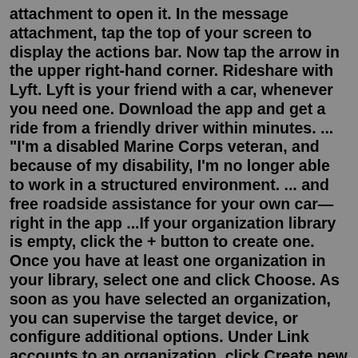attachment to open it. In the message attachment, tap the top of your screen to display the actions bar. Now tap the arrow in the upper right-hand corner. Rideshare with Lyft. Lyft is your friend with a car, whenever you need one. Download the app and get a ride from a friendly driver within minutes. ... "I'm a disabled Marine Corps veteran, and because of my disability, I'm no longer able to work in a structured environment. ... and free roadside assistance for your own car—right in the app ...If your organization library is empty, click the + button to create one. Once you have at least one organization in your library, select one and click Choose. As soon as you have selected an organization, you can supervise the target device, or configure additional options. Under Link accounts to an organization, click Create new organization. In the Create New Organization window, enter the organization name and the email address of the account owner or an admin with editing privileges for account profile of the account you would like to add to your organization. Click